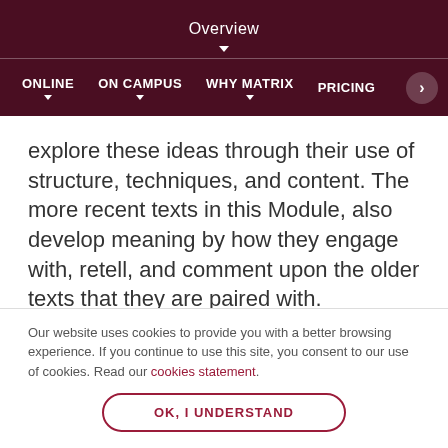Overview
ONLINE   ON CAMPUS   WHY MATRIX   PRICING
explore these ideas through their use of structure, techniques, and content. The more recent texts in this Module, also develop meaning by how they engage with, retell, and comment upon the older texts that they are paired with.

In your study of these pairs, you will need to analyse
Our website uses cookies to provide you with a better browsing experience. If you continue to use this site, you consent to our use of cookies. Read our cookies statement.
OK, I UNDERSTAND